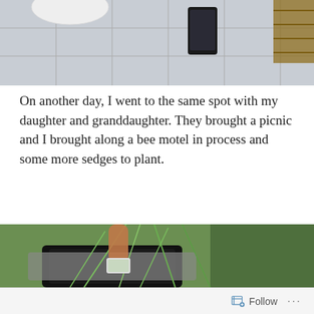[Figure (photo): Top portion of a photo showing paved tiles/stones with a smartphone and other items visible, viewed from above]
On another day, I went to the same spot with my daughter and granddaughter. They brought a picnic and I brought along a bee motel in process and some more sedges to plant.
[Figure (photo): Photo showing a person's hand holding a plant/sedge near a black container, with grass and green vegetation in the background]
Follow ...